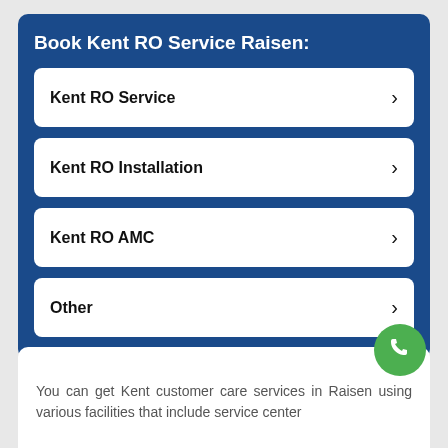Book Kent RO Service Raisen:
Kent RO Service
Kent RO Installation
Kent RO AMC
Other
You can get Kent customer care services in Raisen using various facilities that include service center